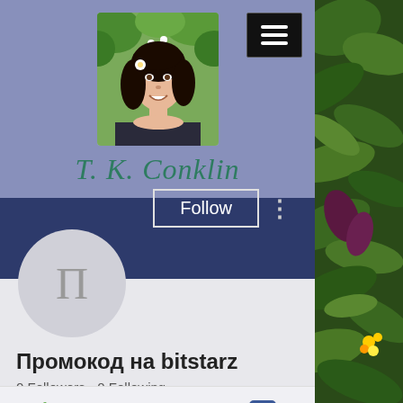[Figure (photo): Author profile photo – woman with dark hair and flower in hair, smiling outdoors]
T. K. Conklin
[Figure (screenshot): Dark blue banner / navigation bar below header]
[Figure (photo): Grey avatar circle with Cyrillic letter П placeholder]
Промокод на bitstarz
0 Followers • 0 Following
[Figure (other): Bottom icons bar with phone, email/envelope, and Facebook icons]
[Figure (photo): Side panel with green foliage/plant leaves]